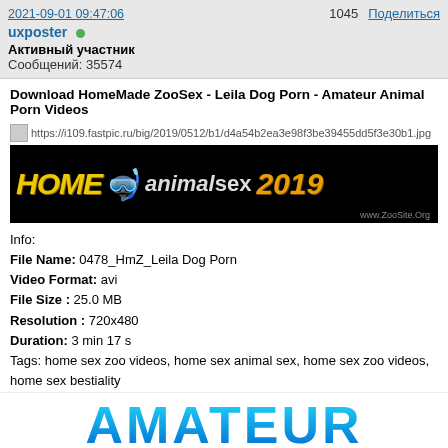2021-09-01 09:47:06   1045   Поделиться
uxposter
Активный участник
Сообщений: 35574
Download HomeMade ZooSex - Leila Dog Porn - Amateur Animal Porn Videos
[Figure (screenshot): Banner image for HOME animalsex 2019 website (www.ZooSite.Org) on black background with yellow and white text]
Info:
File Name: 0478_HmZ_Leila Dog Porn
Video Format: avi
File Size : 25.0 MB
Resolution : 720x480
Duration: 3 min 17 s
Tags: home sex zoo videos, home sex animal sex, home sex zoo videos, home sex bestiality
        zoosex amateur, zoo porn amateur, animal porn amateur, animal sex amateur, zoo amateur
DOWNLOAD - "0478 HmZ Leila Dog Porn" From AMATEUR ANIMAL PORN Archive
[Figure (screenshot): Partial banner showing AMATEUR text in blue/cyan gradient style at bottom of page]